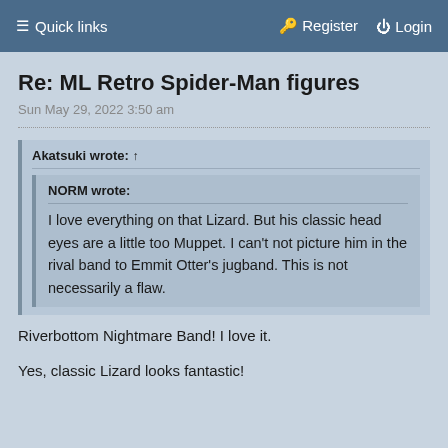≡ Quick links   🔑 Register   ⏻ Login
Re: ML Retro Spider-Man figures
Sun May 29, 2022 3:50 am
Akatsuki wrote: ↑
NORM wrote:
I love everything on that Lizard. But his classic head eyes are a little too Muppet. I can't not picture him in the rival band to Emmit Otter's jugband. This is not necessarily a flaw.
Riverbottom Nightmare Band! I love it.
Yes, classic Lizard looks fantastic!